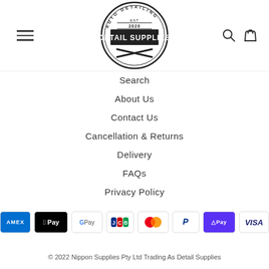[Figure (logo): Detail Supplies auto detailing logo - circular badge with crossed polishing machines, EST 2020]
Search
About Us
Contact Us
Cancellation & Returns
Delivery
FAQs
Privacy Policy
[Figure (infographic): Payment method icons: American Express, Apple Pay, Google Pay, JCB, Mastercard, PayPal, Shop Pay, Visa]
© 2022 Nippon Supplies Pty Ltd Trading As Detail Supplies